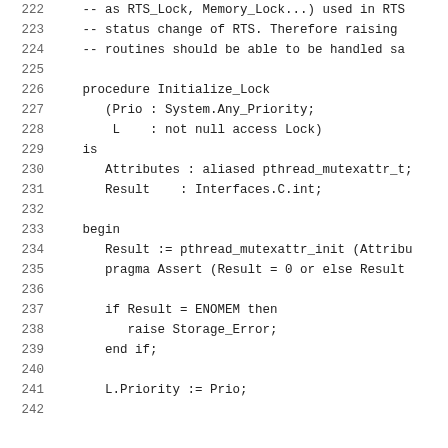222   -- as RTS_Lock, Memory_Lock...) used in RTS
223   -- status change of RTS. Therefore raising
224   -- routines should be able to be handled sa
225
226   procedure Initialize_Lock
227      (Prio : System.Any_Priority;
228       L    : not null access Lock)
229   is
230      Attributes : aliased pthread_mutexattr_t;
231      Result    : Interfaces.C.int;
232
233   begin
234      Result := pthread_mutexattr_init (Attribu
235      pragma Assert (Result = 0 or else Result
236
237      if Result = ENOMEM then
238         raise Storage_Error;
239      end if;
240
241      L.Priority := Prio;
242